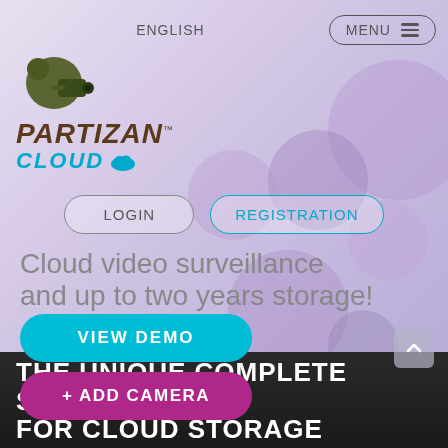[Figure (logo): Partizan Cloud logo with stylized security camera icon, brand name PARTIZAN in dark olive/brown italic bold text, CLOUD in cyan italic bold text with a cloud icon]
ENGLISH
MENU
LOGIN
REGISTRATION
Cloud video surveillance and up to two years storage!
VIEW DEMO
+ ADD CAMERA
THE UNIQUE COMPLETE SOLUTION FOR CLOUD STORAGE